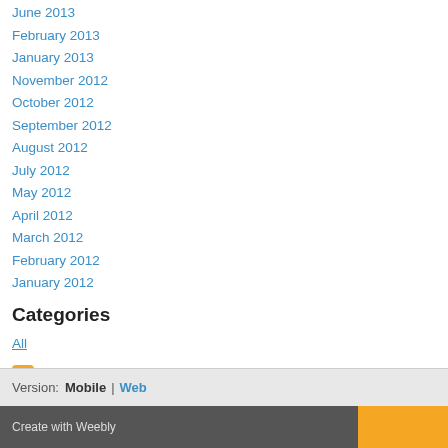June 2013
February 2013
January 2013
November 2012
October 2012
September 2012
August 2012
July 2012
May 2012
April 2012
March 2012
February 2012
January 2012
Categories
All
RSS Feed
Version: Mobile | Web